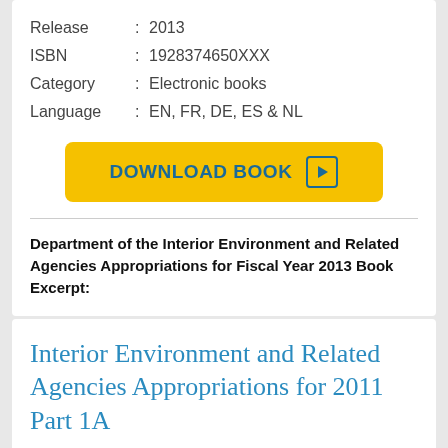| Release | : | 2013 |
| ISBN | : | 1928374650XXX |
| Category | : | Electronic books |
| Language | : | EN, FR, DE, ES & NL |
[Figure (other): Yellow download button with text DOWNLOAD BOOK and a play icon]
Department of the Interior Environment and Related Agencies Appropriations for Fiscal Year 2013 Book Excerpt:
Interior Environment and Related Agencies Appropriations for 2011 Part 1A